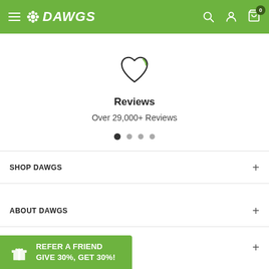DAWGS — navigation header with hamburger menu, logo, search, account, cart (0)
[Figure (illustration): Heart outline icon with a small green arc at top-right]
Reviews
Over 29,000+ Reviews
[Figure (illustration): Four pagination dots, first dot active/filled, remaining three lighter]
SHOP DAWGS +
ABOUT DAWGS +
CUSTOMER SERVICE +
REFER A FRIEND GIVE 30%, GET 30%!